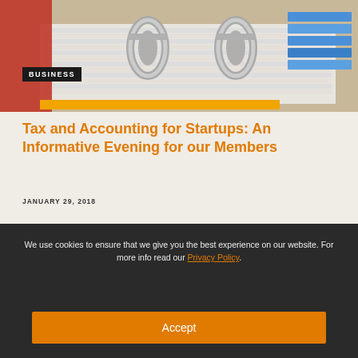[Figure (photo): Close-up photo of binder rings holding stacked papers/documents, with a red binder spine visible, set against a beige/cream background. Tabbed index pages visible.]
BUSINESS
Tax and Accounting for Startups: An Informative Evening for our Members
JANUARY 29, 2018
We use cookies to ensure that we give you the best experience on our website. For more info read our Privacy Policy.
Accept